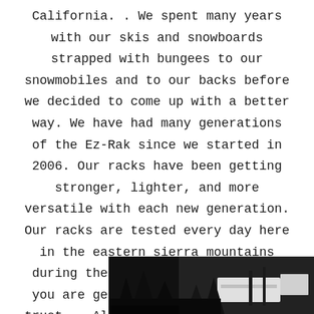California. . We spent many years with our skis and snowboards strapped with bungees to our snowmobiles and to our backs before we decided to come up with a better way. We have had many generations of the Ez-Rak since we started in 2006. Our racks have been getting stronger, lighter, and more versatile with each new generation. Our racks are tested every day here in the eastern sierra mountains during the winters to ensure that you are getting a product you can trust..  All racks are proudly made in the U.S.A. and we are so confident in our product, we offer a lifetime guarantee.
[Figure (photo): Outdoor winter scene showing what appears to be ski/snowboard racks on a vehicle, with trees in the background]